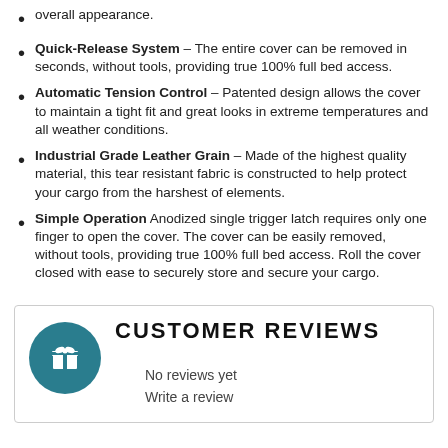overall appearance.
Quick-Release System – The entire cover can be removed in seconds, without tools, providing true 100% full bed access.
Automatic Tension Control – Patented design allows the cover to maintain a tight fit and great looks in extreme temperatures and all weather conditions.
Industrial Grade Leather Grain – Made of the highest quality material, this tear resistant fabric is constructed to help protect your cargo from the harshest of elements.
Simple Operation Anodized single trigger latch requires only one finger to open the cover. The cover can be easily removed, without tools, providing true 100% full bed access. Roll the cover closed with ease to securely store and secure your cargo.
CUSTOMER REVIEWS
No reviews yet
Write a review